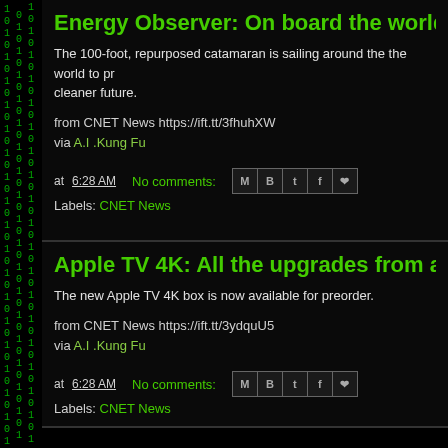Energy Observer: On board the world's
The 100-foot, repurposed catamaran is sailing around the the world to promote a cleaner future.
from CNET News https://ift.tt/3fhuhXW
via A.I .Kung Fu
at 6:28 AM   No comments:
Labels: CNET News
Apple TV 4K: All the upgrades from a ne
The new Apple TV 4K box is now available for preorder.
from CNET News https://ift.tt/3ydquU5
via A.I .Kung Fu
at 6:28 AM   No comments:
Labels: CNET News